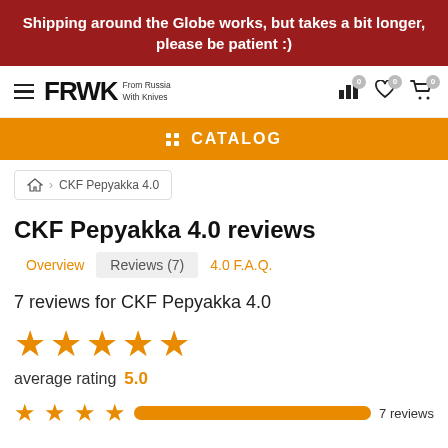Shipping around the Globe works, but takes a bit longer, please be patient :)
[Figure (logo): FRWK From Russia With Knives logo with hamburger menu and nav icons]
CATALOG
CKF Pepyakka 4.0 (breadcrumb)
CKF Pepyakka 4.0 reviews
Overview
Reviews (7)
4.0 F.A.Q.
7 reviews for CKF Pepyakka 4.0
[Figure (other): 5 orange filled stars (large)]
average rating  5.0
[Figure (other): 4 orange stars (small) with full orange progress bar and '7 reviews' label]